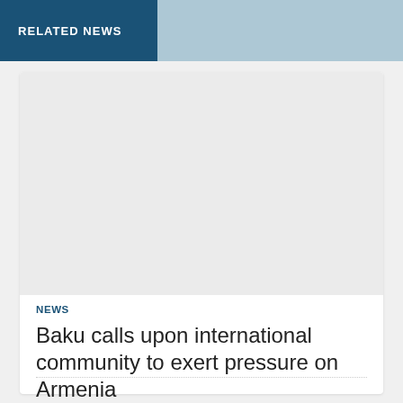RELATED NEWS
[Figure (photo): Placeholder image area, light gray rectangle]
NEWS
Baku calls upon international community to exert pressure on Armenia